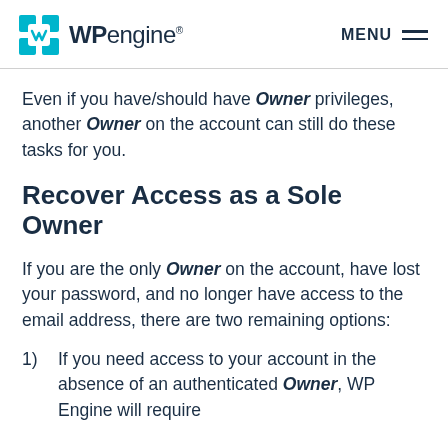WP engine MENU
Even if you have/should have Owner privileges, another Owner on the account can still do these tasks for you.
Recover Access as a Sole Owner
If you are the only Owner on the account, have lost your password, and no longer have access to the email address, there are two remaining options:
1) If you need access to your account in the absence of an authenticated Owner, WP Engine will require